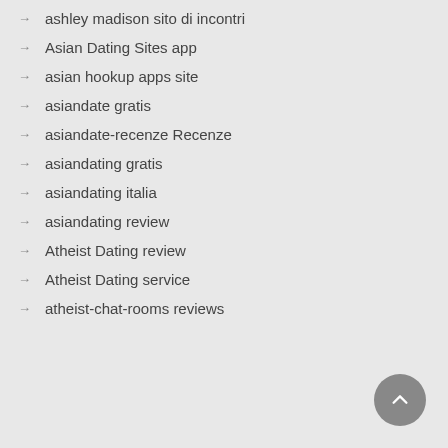ashley madison sito di incontri
Asian Dating Sites app
asian hookup apps site
asiandate gratis
asiandate-recenze Recenze
asiandating gratis
asiandating italia
asiandating review
Atheist Dating review
Atheist Dating service
atheist-chat-rooms reviews